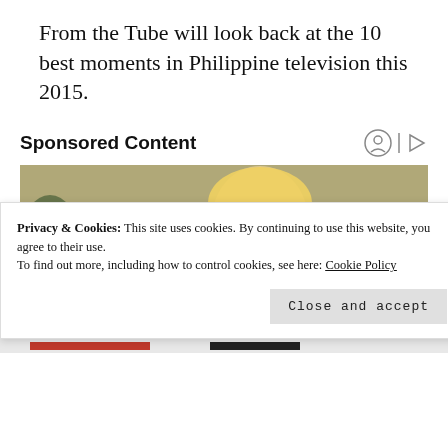From the Tube will look back at the 10 best moments in Philippine television this 2015.
Sponsored Content
[Figure (photo): A blonde woman in a yellow sweater looking at her wrist/hand, seated on a couch, with media playback controls (skip-back, pause, skip-forward) visible at the bottom right]
Privacy & Cookies: This site uses cookies. By continuing to use this website, you agree to their use.
To find out more, including how to control cookies, see here: Cookie Policy
Close and accept